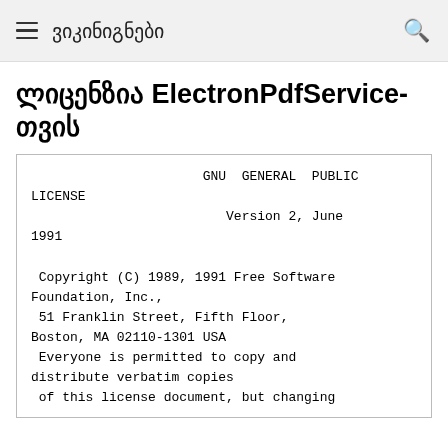ვიკინიგნები
ლიცენზია ElectronPdfService-თვის
GNU GENERAL PUBLIC LICENSE
                           Version 2, June 1991

 Copyright (C) 1989, 1991 Free Software Foundation, Inc.,
 51 Franklin Street, Fifth Floor, Boston, MA 02110-1301 USA
 Everyone is permitted to copy and distribute verbatim copies
 of this license document, but changing